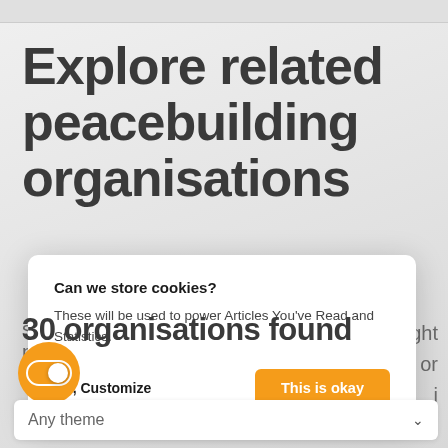Explore related peacebuilding organisations
insight
ion or
i
[Figure (screenshot): Cookie consent modal dialog with title 'Can we store cookies?', body text 'These will be used to power Articles You've Read and Statistics.', and two action buttons: 'No, Customize' (text) and 'This is okay' (orange button)]
30 organisations found
[Figure (other): Orange circular toggle switch button in the on position]
Any theme